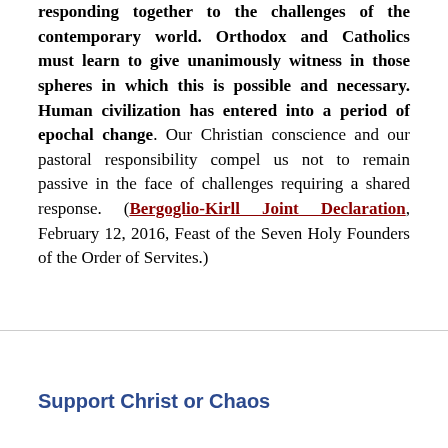responding together to the challenges of the contemporary world. Orthodox and Catholics must learn to give unanimously witness in those spheres in which this is possible and necessary. Human civilization has entered into a period of epochal change. Our Christian conscience and our pastoral responsibility compel us not to remain passive in the face of challenges requiring a shared response. (Bergoglio-Kirll Joint Declaration, February 12, 2016, Feast of the Seven Holy Founders of the Order of Servites.)
Support Christ or Chaos